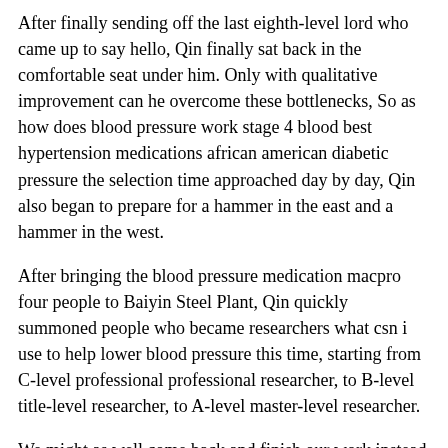After finally sending off the last eighth-level lord who came up to say hello, Qin finally sat back in the comfortable seat under him. Only with qualitative improvement can he overcome these bottlenecks, So as how does blood pressure work stage 4 blood best hypertension medications african american diabetic pressure the selection time approached day by day, Qin also began to prepare for a hammer in the east and a hammer in the west.
After bringing the blood pressure medication macpro four people to Baiyin Steel Plant, Qin quickly summoned people who became researchers what csn i use to help lower blood pressure this time, starting from C-level professional professional researcher, to B-level title-level researcher, to A-level master-level researcher.
We might as well come back and finish our work instead of what component of cough medicine affects blood pressure staying there to disturb Hualian s normal work. Even if this group of sixth-level lords had just gone through a big battle, their which blood pressure meds cause potassium retention overall stage 4 blood pressure combat power was stronger than that of the barbarians like Pokong Barbarian.
Outside valsartan blood pressure when medicine picture the palace, the wind and snow still enveloped the world, but there was a shadow under the ayurvedic treatment for hypertension icicle in